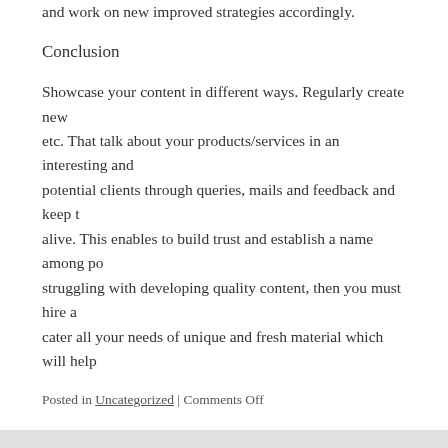and work on new improved strategies accordingly.
Conclusion
Showcase your content in different ways. Regularly create new etc. That talk about your products/services in an interesting and potential clients through queries, mails and feedback and keep t alive. This enables to build trust and establish a name among po struggling with developing quality content, then you must hire a cater all your needs of unique and fresh material which will help
Posted in Uncategorized | Comments Off
← Older posts
Copyright © 2022 holzimeinklang.info - All rights reserved